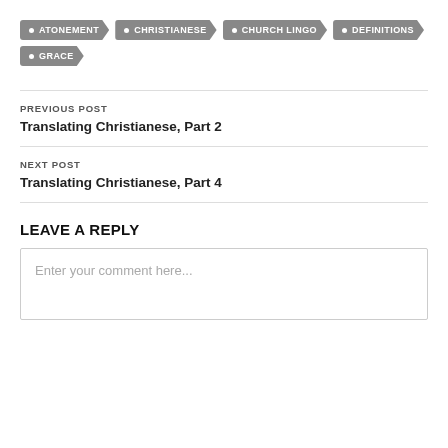• ATONEMENT
• CHRISTIANESE
• CHURCH LINGO
• DEFINITIONS
• GRACE
PREVIOUS POST
Translating Christianese, Part 2
NEXT POST
Translating Christianese, Part 4
LEAVE A REPLY
Enter your comment here...